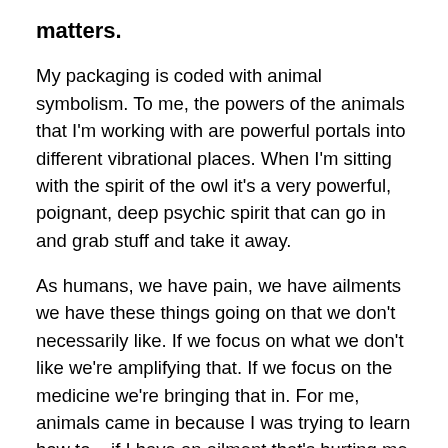matters.
My packaging is coded with animal symbolism. To me, the powers of the animals that I'm working with are powerful portals into different vibrational places. When I'm sitting with the spirit of the owl it's a very powerful, poignant, deep psychic spirit that can go in and grab stuff and take it away.
As humans, we have pain, we have ailments we have these things going on that we don't necessarily like. If we focus on what we don't like we're amplifying that. If we focus on the medicine we're bringing that in. For me, animals came in because I was trying to learn how to – if I have an ailment that's hurting me and I want to heal that, I didn't